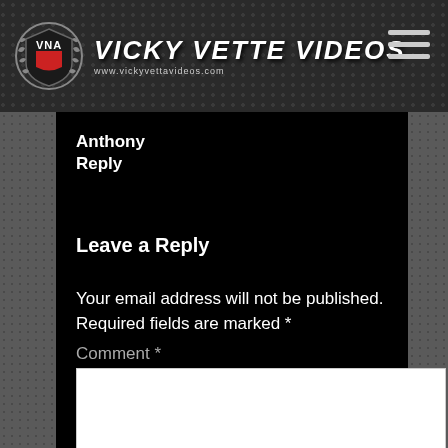[Figure (logo): Vicky Vette Videos website header with VNA badge logo and site title, plus hamburger menu icon]
Anthony
Reply
Leave a Reply
Your email address will not be published. Required fields are marked *
Comment *